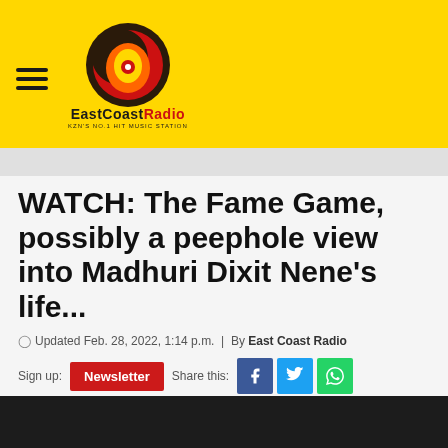EastCoastRadio — KZN'S NO.1 HIT MUSIC STATION
WATCH: The Fame Game, possibly a peephole view into Madhuri Dixit Nene's life...
Updated Feb. 28, 2022, 1:14 p.m. | By East Coast Radio
Sign up: Newsletter  Share this: [Facebook] [Twitter] [WhatsApp]
What do you think? Could it be an inclination into her real life...
[Figure (photo): Dark bottom strip showing a photo of a person, cropped at the bottom of the page]